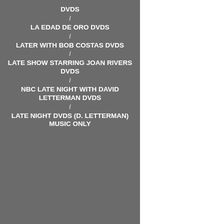DVDS
/
LA EDAD DE ORO DVDS
/
LATER WITH BOB COSTAS DVDS
/
LATE SHOW STARRING JOAN RIVERS DVDS
/
NBC LATE NIGHT WITH DAVID LETTERMAN DVDS
/
LATE NIGHT DVDS (D. LETTERMAN) MUSIC ONLY